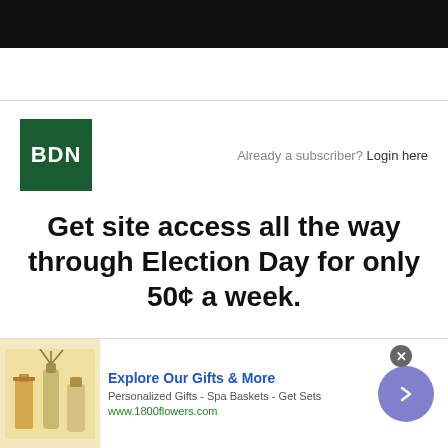[Figure (logo): BDN logo - white text 'BDN' on dark green square background]
Already a subscriber? Login here
Get site access all the way through Election Day for only 50¢ a week.
[Figure (infographic): Advertisement banner: 1800flowers.com - Explore Our Gifts & More. Personalized Gifts - Spa Baskets - Get Sets. www.1800flowers.com. Shows gift product image on left, blue arrow button on right.]